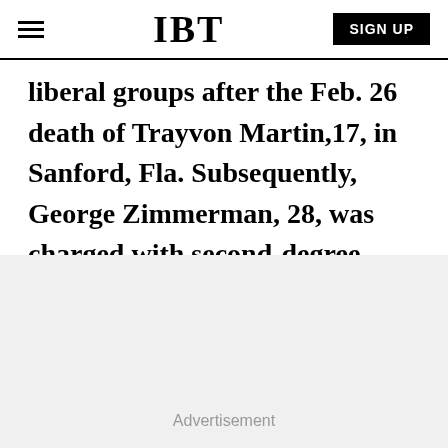IBT | SIGN UP
liberal groups after the Feb. 26 death of Trayvon Martin,17, in Sanford, Fla. Subsequently, George Zimmerman, 28, was charged with second-degree murder but has invoked Florida's Stand Your Ground law in his defense.
Advertisement